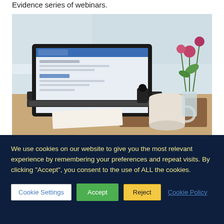Evidence series of webinars.
[Figure (photo): A laptop computer on a desk with an open browser, next to a white mug, small dark bottle, and a glass vase with pink flowers, in a bright room.]
We use cookies on our website to give you the most relevant experience by remembering your preferences and repeat visits. By clicking “Accept”, you consent to the use of ALL the cookies.
Cookie Settings  Accept  Reject  Cookie Policy